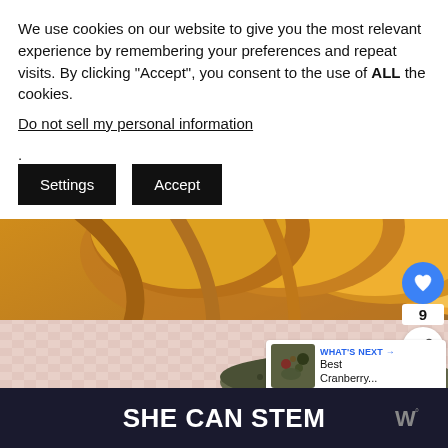We use cookies on our website to give you the most relevant experience by remembering your preferences and repeat visits. By clicking "Accept", you consent to the use of ALL the cookies.
Do not sell my personal information.
Settings
Accept
[Figure (photo): Close-up photo of sliced golden bread on a pink checkered cloth, with mixed seeds/grain salad in the foreground]
9
WHAT'S NEXT → Best Cranberry...
SHE CAN STEM